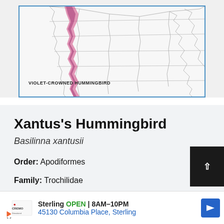[Figure (map): Partial view of a range map showing the distribution of the Violet-crowned Hummingbird, with a pink/purple shaded corridor along the western coast of Mexico. Map has a blue border and shows country/state boundary outlines.]
Xantus's Hummingbird
Basilinna xantusii
Order: Apodiformes
Family: Trochilidae
Size: 3 – 3.5in (8 – 9cm)
[Figure (other): Advertisement banner for Sterling, showing Cremo logo, text 'Sterling OPEN 8AM–10PM 45130 Columbia Place, Sterling' and a blue navigation arrow icon.]